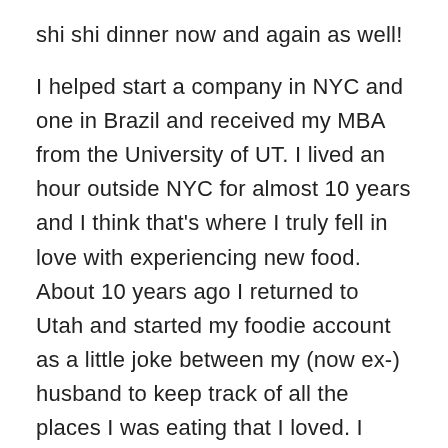shi shi dinner now and again as well!

I helped start a company in NYC and one in Brazil and received my MBA from the University of UT. I lived an hour outside NYC for almost 10 years and I think that's where I truly fell in love with experiencing new food. About 10 years ago I returned to Utah and started my foodie account as a little joke between my (now ex-) husband to keep track of all the places I was eating that I loved. I have two teens (yes, I'm surviving-ha!) and spend the bulk of my time focused on raising them. I'm a total shoe addict and some of you may have seen my slightly ridiculous shoe collection on my Instagram account haha. (Hey! A girl can never have too many shoes, right!? Lol) I also love to travel and